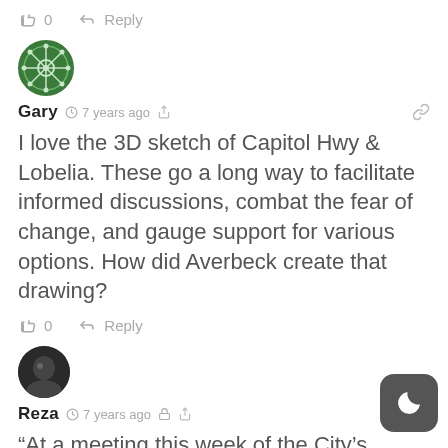👍 0  ➜ Reply
[Figure (illustration): Green circular avatar with geometric snowflake/asterisk pattern for user Gary]
Gary  🕐 7 years ago  <  🔗
I love the 3D sketch of Capitol Hwy & Lobelia. These go a long way to facilitate informed discussions, combat the fear of change, and gauge support for various options. How did Averbeck create that drawing?
👍 0  ➜ Reply
[Figure (photo): Dark circular avatar photo of user Reza]
Reza  🕐 7 years ago  🔒  <  🔗
“At a meeting this week of the City’s Bicycle Advisory Committee, its 20